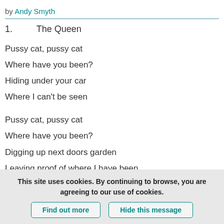by Andy Smyth
1.      The Queen
Pussy cat, pussy cat
Where have you been?
Hiding under your car
Where I can't be seen
Pussy cat, pussy cat
Where have you been?
Digging up next doors garden
Leaving proof of where I have been
This site uses cookies. By continuing to browse, you are agreeing to our use of cookies.